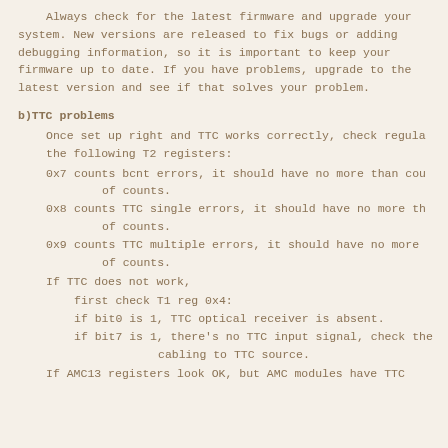Always check for the latest firmware and upgrade your system. New versions are released to fix bugs or adding debugging information, so it is important to keep your firmware up to date. If you have problems, upgrade to the latest version and see if that solves your problem.
b)TTC problems
Once set up right and TTC works correctly, check regula the following T2 registers:
0x7 counts bcnt errors, it should have no more than cou of counts.
0x8 counts TTC single errors, it should have no more th of counts.
0x9 counts TTC multiple errors, it should have no more of counts.
If TTC does not work,
first check T1 reg 0x4:
if bit0 is 1, TTC optical receiver is absent.
if bit7 is 1, there's no TTC input signal, check the cabling to TTC source.
If AMC13 registers look OK, but AMC modules have TTC